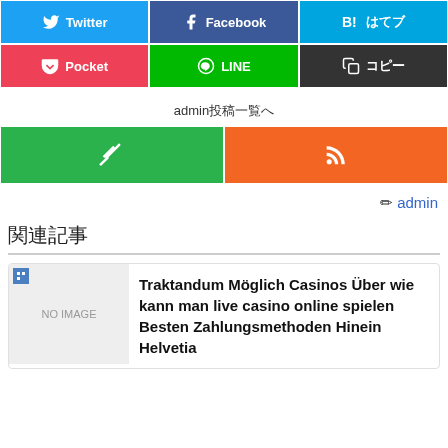[Figure (screenshot): Social share buttons row 1: Twitter (blue), Facebook (dark blue), B! hatena (blue)]
[Figure (screenshot): Social share buttons row 2: Pocket (pink), LINE (green), copy (dark gray)]
admin投稿一覧へ
[Figure (screenshot): Feedly button (green) and RSS button (orange)]
✏ admin
関連記事
Traktandum Möglich Casinos Über wie kann man live casino online spielen Besten Zahlungsmethoden Hinein Helvetia